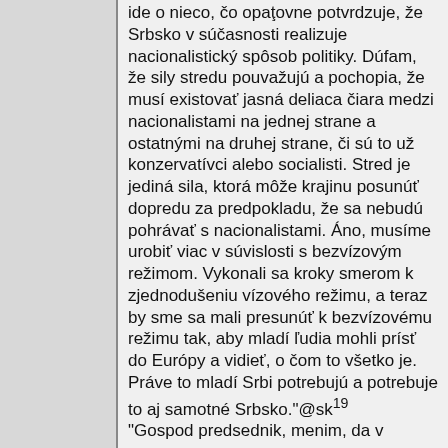ide o nieco, čo opaţovne potvrdzuje, že Srbsko v súčasnosti realizuje nacionalistický spôsob politiky. Dúfam, že sily stredu pouvažujú a pochopia, že musí existovať jasná deliaca čiara medzi nacionalistami na jednej strane a ostatnými na druhej strane, či sú to už konzervatívci alebo socialisti. Stred je jediná sila, ktorá môže krajinu posunúť dopredu za predpokladu, že sa nebudú pohrávať s nacionalistami. Áno, musíme urobiť viac v súvislosti s bezvízovým režimom. Vykonali sa kroky smerom k zjednodušeniu vízového režimu, a teraz by sme sa mali presunúť k bezvízovému režimu tak, aby mladí ľudia mohli prísť do Európy a vidieť, o čom to všetko je. Práve to mladí Srbi potrebujú a potrebuje to aj samotné Srbsko."@sk¹⁹ "Gospod predsednik, menim, da v